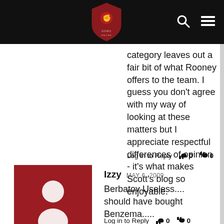[Figure (logo): Website logo with shield icon on black header bar]
category leaves out a fair bit of what Rooney offers to the team. I guess you don't agree with my way of looking at these matters but I appreciate respectful differences of opinion - it's what makes Scott's blog so enjoyable.
Log in to Reply  0  0
Izzy  MAY 6, 2009
Berbatov Useless.... should have bought Benzema.....
Log in to Reply  0  0
Marq  MAY 7, 2009